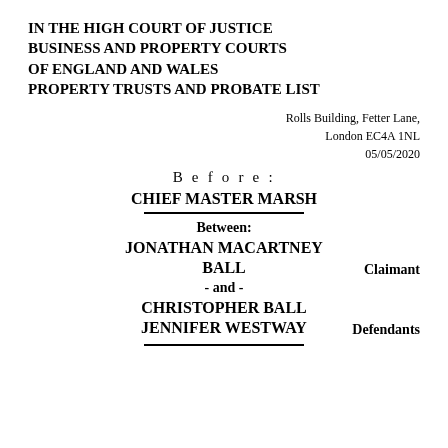IN THE HIGH COURT OF JUSTICE BUSINESS AND PROPERTY COURTS OF ENGLAND AND WALES PROPERTY TRUSTS AND PROBATE LIST
Rolls Building, Fetter Lane, London EC4A 1NL
05/05/2020
Before:
CHIEF MASTER MARSH
Between:
JONATHAN MACARTNEY BALL
Claimant
- and -
CHRISTOPHER BALL
JENNIFER WESTWAY
Defendants